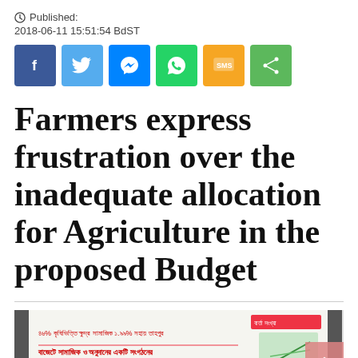Published: 2018-06-11 15:51:54 BdST
[Figure (infographic): Social media share buttons: Facebook (blue), Twitter (light blue), Messenger (blue), WhatsApp (green), SMS (yellow/orange), Share (green)]
Farmers express frustration over the inadequate allocation for Agriculture in the proposed Budget
[Figure (photo): Partially visible photo of a presentation or banner with Bangla text, showing text and a green chart area on a light background.]